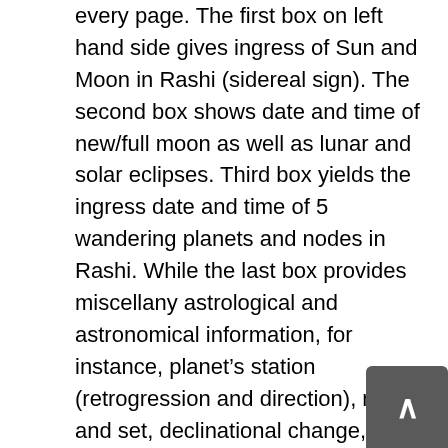every page. The first box on left hand side gives ingress of Sun and Moon in Rashi (sidereal sign). The second box shows date and time of new/full moon as well as lunar and solar eclipses. Third box yields the ingress date and time of 5 wandering planets and nodes in Rashi. While the last box provides miscellany astrological and astronomical information, for instance, planet's station (retrogression and direction), rise and set, declinational change, maximum brightness of Venus and Mars, and maximum elongation of Jupiter and Saturn.

This “Sidereal Ephemeris” follows alphanumeric abbreviations which are more popular among practitioners of Jyotish. The digital output is initially produced in Portable Document File (PDF) format. It is